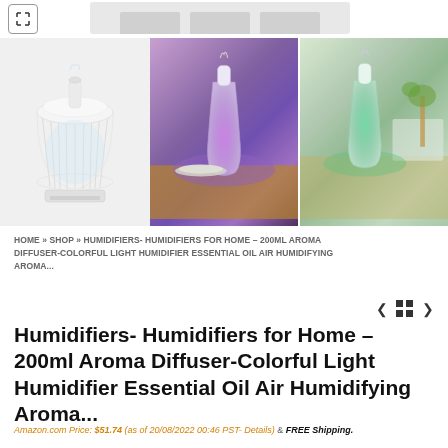[Figure (photo): Product images: cage-style white humidifier/aroma diffuser on left; two photos of slim bottle-style diffuser glowing purple and green on a wooden surface on right]
HOME » SHOP » HUMIDIFIERS- HUMIDIFIERS FOR HOME – 200ML AROMA DIFFUSER-COLORFUL LIGHT HUMIDIFIER ESSENTIAL OIL AIR HUMIDIFYING AROMA...
Humidifiers- Humidifiers for Home – 200ml Aroma Diffuser-Colorful Light Humidifier Essential Oil Air Humidifying Aroma...
Amazon.com Price: $51.74 (as of 20/08/2022 00:46 PST- Details) & FREE Shipping.